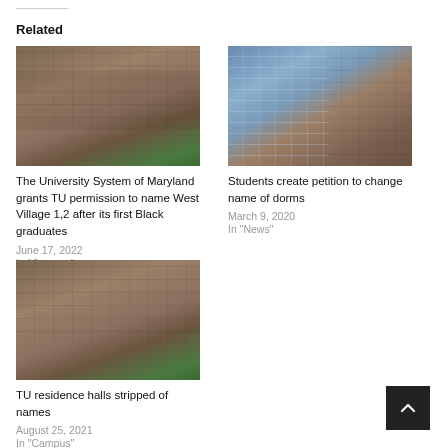Related
[Figure (photo): Exterior photo of a brick university residence hall building with large windows and green landscaping]
The University System of Maryland grants TU permission to name West Village 1,2 after its first Black graduates
June 17, 2022
In "Campus"
[Figure (photo): Exterior photo of a university building with glass and brick facade]
Students create petition to change name of dorms
March 9, 2020
In "News"
[Figure (photo): Exterior photo of a brick university residence hall building similar to the first image]
TU residence halls stripped of names
August 25, 2021
In "Campus"